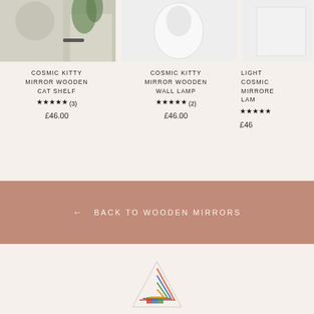[Figure (photo): Product photo of Cosmic Kitty Mirror Wooden Cat Shelf showing decorative shelf with plant and small items]
COSMIC KITTY MIRROR WOODEN CAT SHELF
★★★★★ (3)
£46.00
[Figure (photo): Product photo of Cosmic Kitty Mirror Wooden Wall Lamp showing lamp on light background]
COSMIC KITTY MIRROR WOODEN WALL LAMP
★★★★★ (2)
£46.00
[Figure (photo): Partially visible product photo of Light Cosmic Mirrored Lamp]
LIGHT COSMIC MIRRORE LAM
★★★★★
£46
← BACK TO WOODEN MIRRORS
[Figure (logo): Logo image at the bottom of the page, triangular mountain-like shape with colorful pattern]